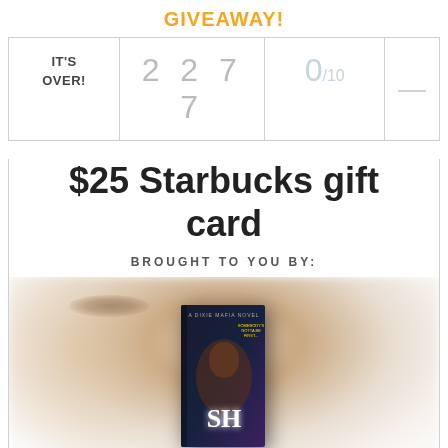GIVEAWAY!
| IT'S OVER! | 2277 | 0/10 | — |
| --- | --- | --- | --- |
$25 Starbucks gift card
BROUGHT TO YOU BY:
[Figure (photo): Book cover for a Dixie Mafia novel titled 'Fish' with dark background and glowing text, set against a blurred background showing a woman's face]
And the winner is...